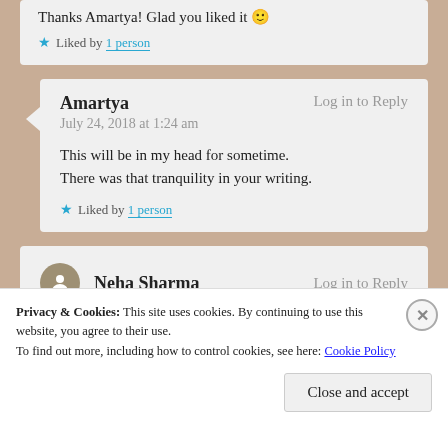Thanks Amartya! Glad you liked it 🙂 ★ Liked by 1 person
Amartya — Log in to Reply
July 24, 2018 at 1:24 am
This will be in my head for sometime. There was that tranquility in your writing.
★ Liked by 1 person
Neha Sharma — Log in to Reply
Privacy & Cookies: This site uses cookies. By continuing to use this website, you agree to their use.
To find out more, including how to control cookies, see here: Cookie Policy